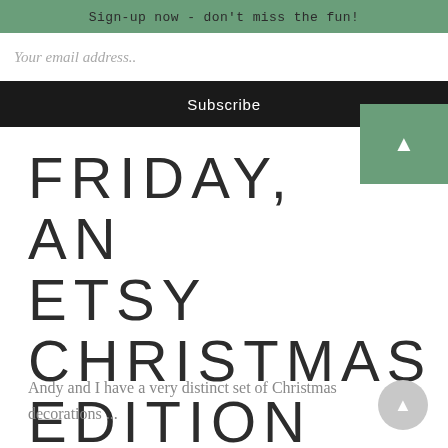Sign-up now - don't miss the fun!
Your email address..
Subscribe
FRIDAY, AN ETSY CHRISTMAS EDITION
Andy and I have a very distinct set of Christmas decorations ...